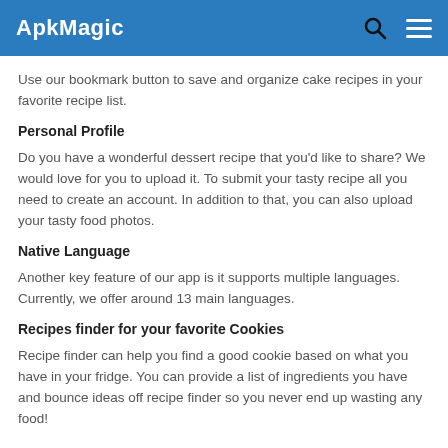ApkMagic
Use our bookmark button to save and organize cake recipes in your favorite recipe list.
Personal Profile
Do you have a wonderful dessert recipe that you'd like to share? We would love for you to upload it. To submit your tasty recipe all you need to create an account. In addition to that, you can also upload your tasty food photos.
Native Language
Another key feature of our app is it supports multiple languages. Currently, we offer around 13 main languages.
Recipes finder for your favorite Cookies
Recipe finder can help you find a good cookie based on what you have in your fridge. You can provide a list of ingredients you have and bounce ideas off recipe finder so you never end up wasting any food!